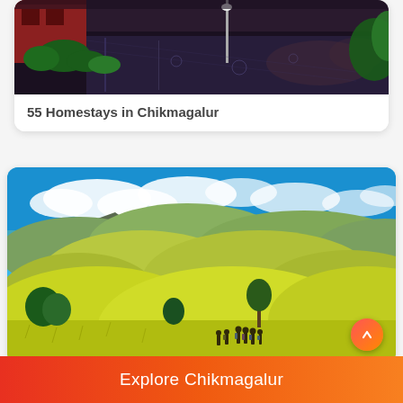[Figure (photo): Aerial/overhead view of a wet paved courtyard or property area with red brick building on the left, green plants/shrubs, and rain-wet surfaces with orange/warm lighting reflections]
55 Homestays in Chikmagalur
[Figure (photo): Scenic landscape photo of rolling green hills (Chikmagalur region), with bright blue sky and white clouds, a rocky cliff formation on the left, golden-green grass covering the undulating hills, and a group of trekkers walking in the foreground]
Explore Chikmagalur